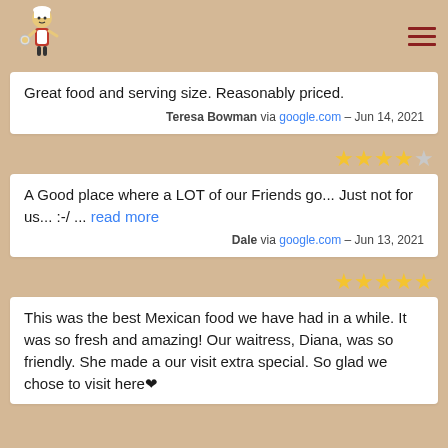[Figure (logo): Restaurant logo illustration of a chef/waiter character with food items]
Great food and serving size. Reasonably priced.
Teresa Bowman via google.com – Jun 14, 2021
★★★★☆ (4 out of 5 stars)
A Good place where a LOT of our Friends go... Just not for us... :-/ ... read more
Dale via google.com – Jun 13, 2021
★★★★★ (5 out of 5 stars)
This was the best Mexican food we have had in a while. It was so fresh and amazing! Our waitress, Diana, was so friendly. She made a our visit extra special. So glad we chose to visit here❤